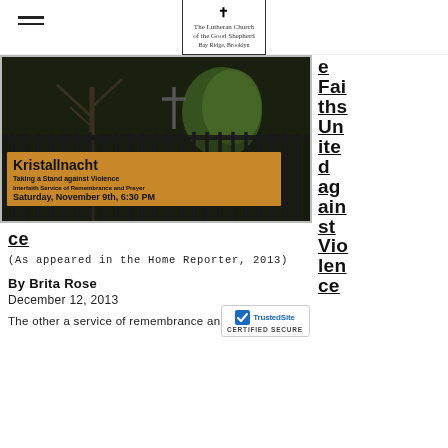The Lutheran Church of the Good Shepherd
[Figure (photo): Photo of a church with an iron fence, a banner reading 'Kristallnacht Taking a Stand against Violence Interfaith Service of Remembrance and Prayer Saturday, November 9th, 6:30 PM']
Faiths United against Violence
(As appeared in the Home Reporter, 2013)
By Brita Rose
December 12, 2013
[Figure (logo): TrustedSite CERTIFIED SECURE badge]
The other a service of remembrance and faith...